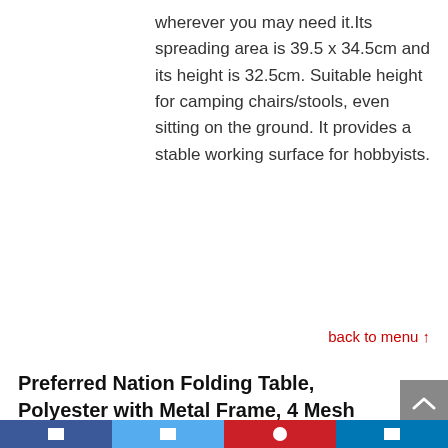wherever you may need it.Its spreading area is 39.5 x 34.5cm and its height is 32.5cm. Suitable height for camping chairs/stools, even sitting on the ground. It provides a stable working surface for hobbyists.
back to menu ↑
Preferred Nation Folding Table, Polyester with Metal Frame, 4 Mesh Cup Holders, Compact, ConvenientCarry Case Included – Black